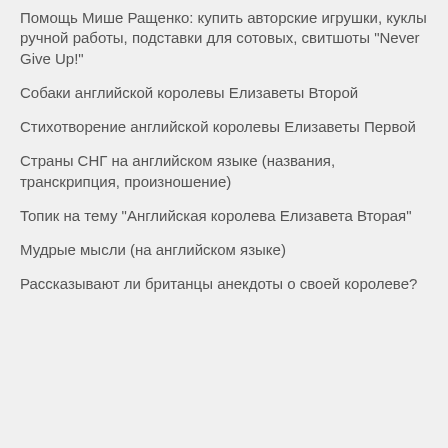Помощь Мише Ращенко: купить авторские игрушки, куклы ручной работы, подставки для сотовых, свитшоты "Never Give Up!"
Собаки английской королевы Елизаветы Второй
Стихотворение английской королевы Елизаветы Первой
Страны СНГ на английском языке (названия, транскрипция, произношение)
Топик на тему "Английская королева Елизавета Вторая"
Мудрые мысли (на английском языке)
Рассказывают ли британцы анекдоты о своей королеве?